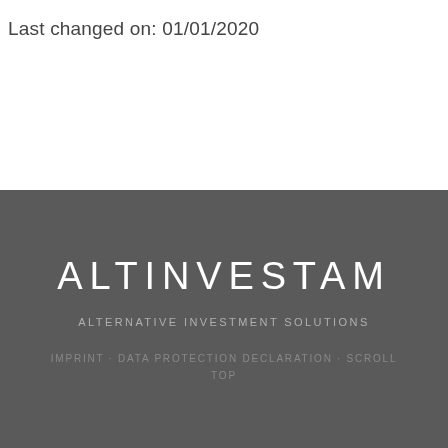Last changed on: 01/01/2020
[Figure (logo): ALTINVESTAM logo with tagline ALTERNATIVE INVESTMENT SOLUTIONS on dark grey background]
IMPRINT · DATA PROTECTION DECLARATION · SCROLL TOP